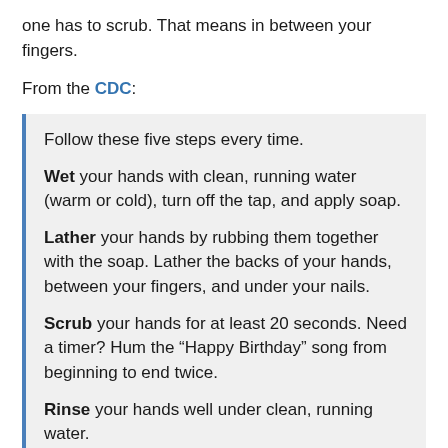one has to scrub. That means in between your fingers.
From the CDC:
Follow these five steps every time.

Wet your hands with clean, running water (warm or cold), turn off the tap, and apply soap.

Lather your hands by rubbing them together with the soap. Lather the backs of your hands, between your fingers, and under your nails.

Scrub your hands for at least 20 seconds. Need a timer? Hum the “Happy Birthday” song from beginning to end twice.

Rinse your hands well under clean, running water.